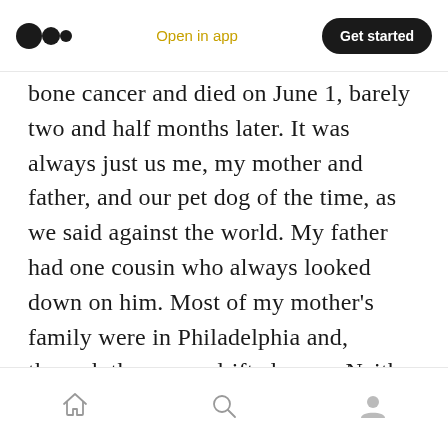Medium logo | Open in app | Get started
bone cancer and died on June 1, barely two and half months later. It was always just us me, my mother and father, and our pet dog of the time, as we said against the world. My father had one cousin who always looked down on him. Most of my mother’s family were in Philadelphia and, through the years, drifted away. Neither was the Montreal Jewish community welcoming to us; we were not the wealthy donors or could afford the membership and attend the modern Orthodox synagogue each week. We could not keep up as they say.
Home | Search | Profile